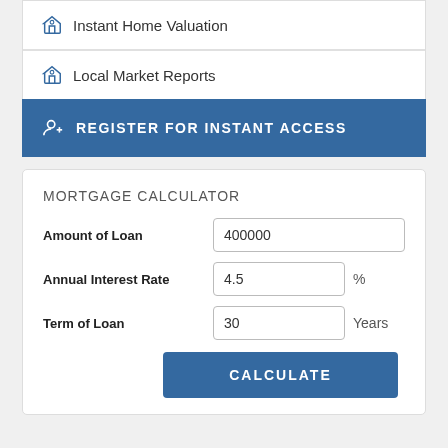Instant Home Valuation
Local Market Reports
REGISTER FOR INSTANT ACCESS
MORTGAGE CALCULATOR
Amount of Loan: 400000
Annual Interest Rate: 4.5 %
Term of Loan: 30 Years
CALCULATE